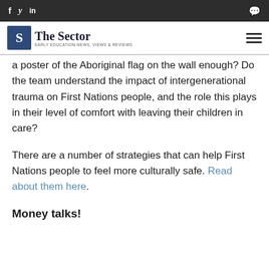f  y  in  [comment icon]  The Sector — EARLY EDUCATION NEWS, VIEWS & REVIEWS
a poster of the Aboriginal flag on the wall enough? Do the team understand the impact of intergenerational trauma on First Nations people, and the role this plays in their level of comfort with leaving their children in care?
There are a number of strategies that can help First Nations people to feel more culturally safe. Read about them here.
Money talks!